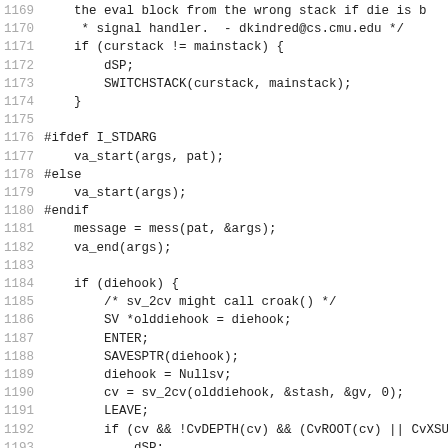Source code listing lines 1169-1201, Perl/C source code with line numbers
[Figure (screenshot): Source code listing in monospace font with line numbers 1169-1201 showing C/Perl code including stack switching, va_start/va_end, diehook handling, and SV manipulation]